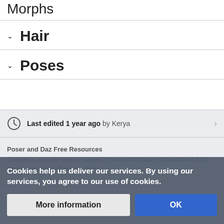Morphs
Hair
Poses
Last edited 1 year ago by Kerya
Poser and Daz Free Resources
Content is available under Creative Commons Attribution-ShareAlike 4.0 International unless otherwise noted.
Cookies help us deliver our services. By using our services, you agree to our use of cookies.